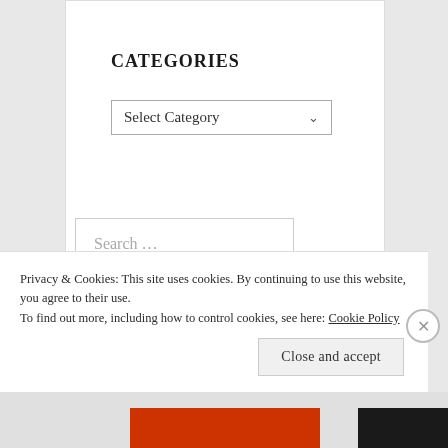CATEGORIES
Select Category
Search ...
Privacy & Cookies: This site uses cookies. By continuing to use this website, you agree to their use.
To find out more, including how to control cookies, see here: Cookie Policy
Close and accept